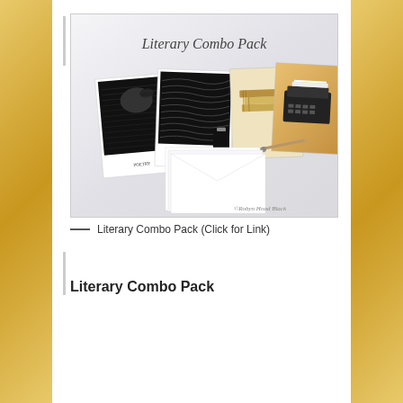[Figure (photo): Photograph of a Literary Combo Pack showing art cards with black and white linocut prints (bird/raven, landscape), light-colored illustrated cards (books, typewriter), a glass dip pen, ink bottle, and white envelopes arranged on white fabric. Text 'Literary Combo Pack' in italic script at top, watermark '©Robyn Hood Black' at bottom right.]
Literary Combo Pack (Click for Link)
Literary Combo Pack